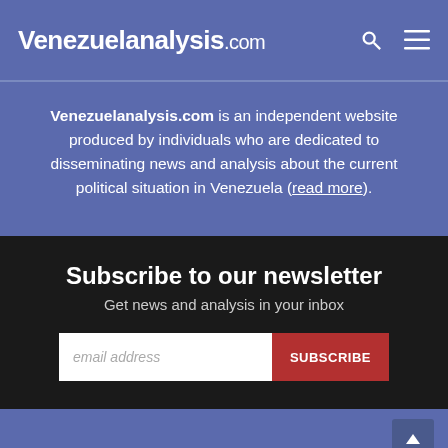Venezuelanalysis.com
Venezuelanalysis.com is an independent website produced by individuals who are dedicated to disseminating news and analysis about the current political situation in Venezuela (read more).
Subscribe to our newsletter
Get news and analysis in your inbox
Support us, DONATE NOW!